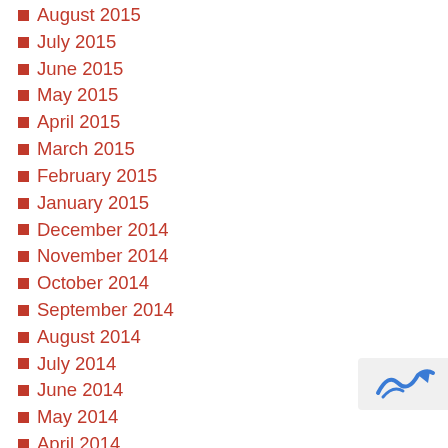August 2015
July 2015
June 2015
May 2015
April 2015
March 2015
February 2015
January 2015
December 2014
November 2014
October 2014
September 2014
August 2014
July 2014
June 2014
May 2014
April 2014
March 2014
[Figure (logo): Company logo in bottom right corner]